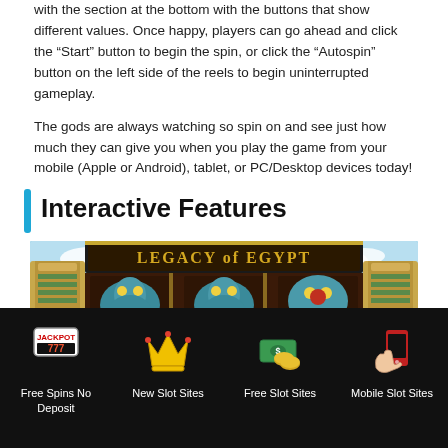with the section at the bottom with the buttons that show different values. Once happy, players can go ahead and click the “Start” button to begin the spin, or click the “Autospin” button on the left side of the reels to begin uninterrupted gameplay.
The gods are always watching so spin on and see just how much they can give you when you play the game from your mobile (Apple or Android), tablet, or PC/Desktop devices today!
Interactive Features
[Figure (screenshot): Legacy of Egypt slot game screenshot showing the game title 'LEGACY of EGYPT' with Egyptian-themed slot reels featuring cat statues and decorative columns]
Free Spins No Deposit | New Slot Sites | Free Slot Sites | Mobile Slot Sites